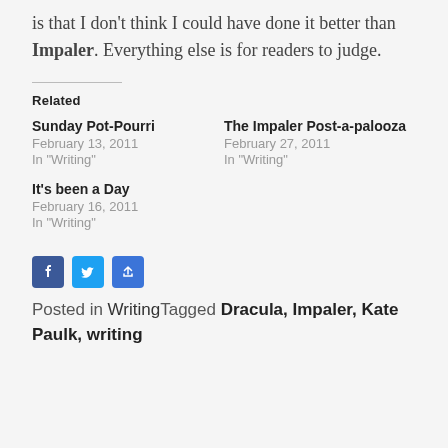is that I don't think I could have done it better than Impaler. Everything else is for readers to judge.
Related
Sunday Pot-Pourri
February 13, 2011
In "Writing"
The Impaler Post-a-palooza
February 27, 2011
In "Writing"
It's been a Day
February 16, 2011
In "Writing"
[Figure (infographic): Social sharing icons: Facebook (blue square with F), Twitter (blue square with bird), and a share button (blue square with plus)]
Posted in WritingTagged Dracula, Impaler, Kate Paulk, writing